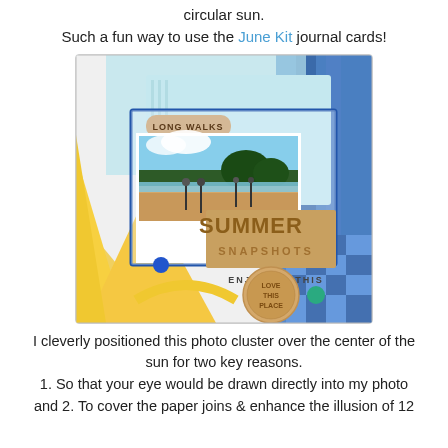circular sun.
Such a fun way to use the June Kit journal cards!
[Figure (photo): A scrapbook layout featuring a summer beach photo with people walking on the shore, overlaid with 'SUMMER SNAPSHOTS' text, decorative elements including 'LONG WALKS' label, 'LOVE THIS PLACE' button, blue dot embellishment, yellow sun rays, blue and teal patterned papers, and 'ENJOYING THIS' text.]
I cleverly positioned this photo cluster over the center of the sun for two key reasons.
1. So that your eye would be drawn directly into my photo and 2. To cover the paper joins & enhance the illusion of 12